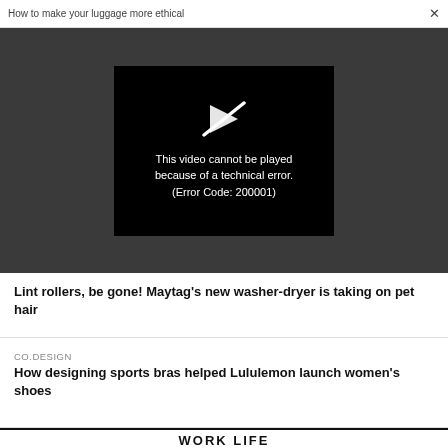How to make your luggage more ethical  ×
[Figure (screenshot): Video player showing error message: 'This video cannot be played because of a technical error. (Error Code: 200001)' on a dark grey background with a black video frame and a broken play icon.]
Lint rollers, be gone! Maytag's new washer-dryer is taking on pet hair
CO.DESIGN
How designing sports bras helped Lululemon launch women's shoes
WORK LIFE